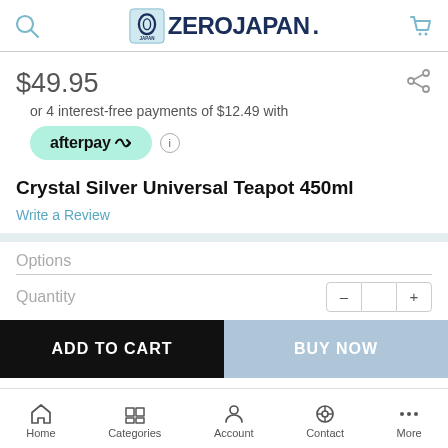[Figure (logo): ZEROJAPAN brand logo with icon on left and text on right]
$49.95
or 4 interest-free payments of $12.49 with
[Figure (logo): Afterpay logo badge in mint green]
Crystal Silver Universal Teapot 450ml
Write a Review
Options
Quantity
ADD TO CART
BUY NOW
Home  Categories  Account  Contact  More